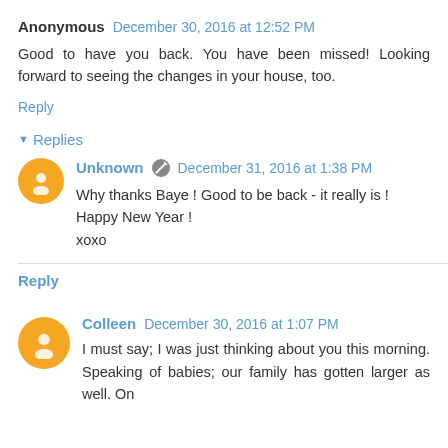Anonymous December 30, 2016 at 12:52 PM
Good to have you back. You have been missed! Looking forward to seeing the changes in your house, too.
Reply
Replies
Unknown December 31, 2016 at 1:38 PM
Why thanks Baye ! Good to be back - it really is ! Happy New Year !
xoxo
Reply
Colleen December 30, 2016 at 1:07 PM
I must say; I was just thinking about you this morning. Speaking of babies; our family has gotten larger as well. On